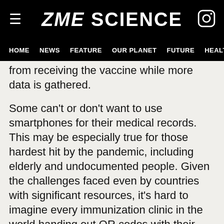ZME SCIENCE
HOME  NEWS  FEATURE  OUR PLANET  FUTURE  HEALT
from receiving the vaccine while more data is gathered.
Some can't or don't want to use smartphones for their medical records. This may be especially true for those hardest hit by the pandemic, including elderly and undocumented people. Given the challenges faced even by countries with significant resources, it's hard to imagine every immunization clinic in the world handing out QR codes with their vaccines.
Experts think enforcing two-tier restrictions on who can and cannot socialize or go to